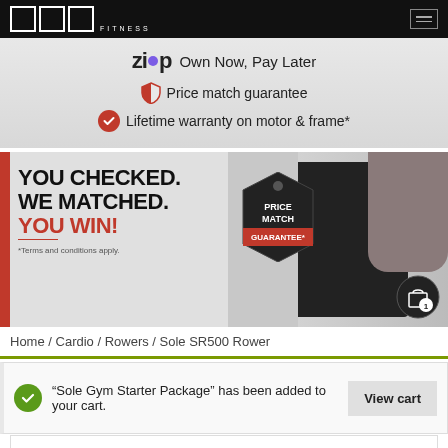3RD Fitness logo header with hamburger menu
Zip — Own Now, Pay Later
Price match guarantee
Lifetime warranty on motor & frame*
[Figure (photo): Price match guarantee promotional banner: YOU CHECKED. WE MATCHED. YOU WIN! with a price tag graphic and a person using a treadmill. *Terms and conditions apply.]
Home / Cardio / Rowers / Sole SR500 Rower
"Sole Gym Starter Package" has been added to your cart.